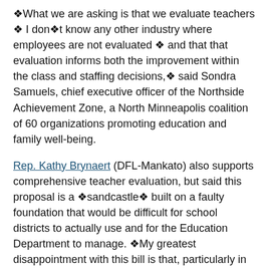❖What we are asking is that we evaluate teachers ❖ I don❖t know any other industry where employees are not evaluated ❖ and that that evaluation informs both the improvement within the class and staffing decisions,❖ said Sondra Samuels, chief executive officer of the Northside Achievement Zone, a North Minneapolis coalition of 60 organizations promoting education and family well-being.
Rep. Kathy Brynaert (DFL-Mankato) also supports comprehensive teacher evaluation, but said this proposal is a ❖sandcastle❖ built on a faulty foundation that would be difficult for school districts to actually use and for the Education Department to manage. ❖My greatest disappointment with this bill is that, particularly in education, what purports to be reform is not grounded in sound, broad-based and objective research.❖
Garofalo remains optimistic the bill will result in bipartisan measures the governor will support by session❖s end, and noted the House $14.16 billion target and the governor❖s aren❖t too far apart.
❖Conversation and dialogue on education has been occurring